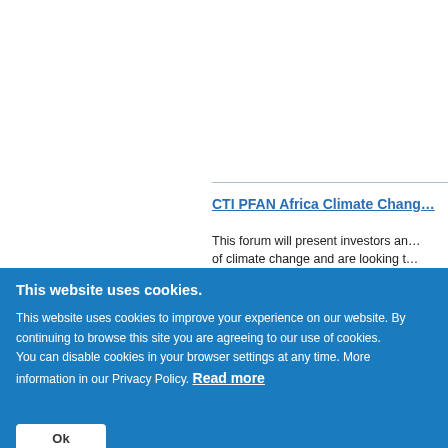CTI PFAN Africa Climate Chang…
This forum will present investors an… of climate change and are looking t…
This website uses cookies.
This website uses cookies to improve your experience on our website. By continuing to browse this site you are agreeing to our use of cookies. You can disable cookies in your browser settings at any time. More information in our Privacy Policy. Read more